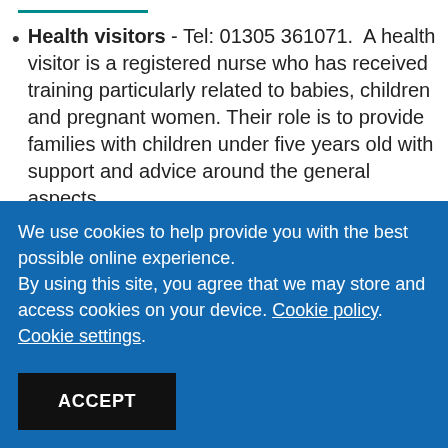Health visitors - Tel: 01305 361071. A health visitor is a registered nurse who has received training particularly related to babies, children and pregnant women. Their role is to provide families with children under five years old with support and advice around the general aspects
We use cookies to help provide you with the best possible online experience. By using this site, you agree that we may store and access cookies on your device. Cookie policy. Cookie settings.